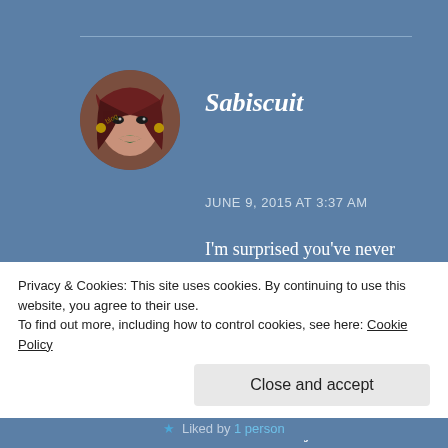[Figure (photo): Circular avatar photo of a person with green lipstick and gold earrings, styled portrait shot]
Sabiscuit
JUNE 9, 2015 AT 3:37 AM
I'm surprised you've never tried it before. It's fragrant, like the flower, and it's absolute luxury. The best ones are the dried flowers from Taiwan. They open up in the pot after you add hot water and it's just
Privacy & Cookies: This site uses cookies. By continuing to use this website, you agree to their use.
To find out more, including how to control cookies, see here: Cookie Policy
Close and accept
Liked by 1 person